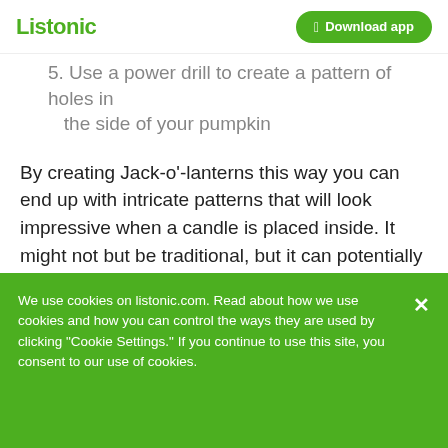Listonic | Download app
5. Use a power drill to create a pattern of holes in the side of your pumpkin
By creating Jack-o'-lanterns this way you can end up with intricate patterns that will look impressive when a candle is placed inside. It might not but be traditional, but it can potentially be a quick and impressive centerpieces to your decorations.
? TIP
We use cookies on listonic.com. Read about how we use cookies and how you can control the ways they are used by clicking "Cookie Settings." If you continue to use this site, you consent to our use of cookies.